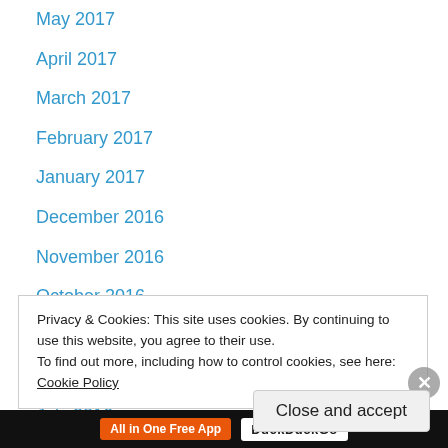May 2017
April 2017
March 2017
February 2017
January 2017
December 2016
November 2016
October 2016
September 2016
August 2016
July 2016
June 2016
May 2016
April 2016
Privacy & Cookies: This site uses cookies. By continuing to use this website, you agree to their use. To find out more, including how to control cookies, see here: Cookie Policy
Close and accept